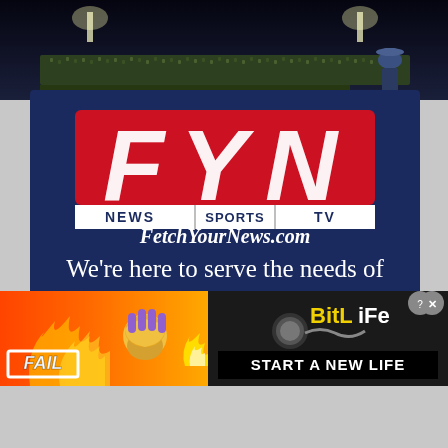[Figure (photo): Night sports event photo strip showing stadium lights and a crowd, with a person's silhouette visible on the right side.]
[Figure (logo): FYN (Fetch Your News) logo on dark navy background. Large red block letters F, Y, N in italic. Below: NEWS | SPORTS | TV bar, then FetchYourNews.com in white italic serif text.]
We're here to serve the needs of the community
You can help in that mission by becoming a subscriber to Fetch Your News.
Our supporters get access for life and help fund a source of
[Figure (advertisement): BitLife game advertisement with orange/red flame background. Left side shows FAIL text with facepalm emoji and flame emoji. Right side shows BitLife logo with sperm cell icon on black background, and START A NEW LIFE text in white on black bar. Close buttons visible top right.]